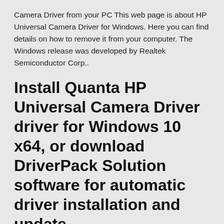Camera Driver from your PC This web page is about HP Universal Camera Driver for Windows. Here you can find details on how to remove it from your computer. The Windows release was developed by Realtek Semiconductor Corp..
Install Quanta HP Universal Camera Driver driver for Windows 10 x64, or download DriverPack Solution software for automatic driver installation and update.
HP EliteBook Folio G1 Universal Camera Driver 2.0.1.4 Windows 10 driver download - Windows 10 Download - Free Windows 10 Download Digital Camera / Webcam / Camcorder Windows 10 driver download Windows 10 Download Free Windows 10